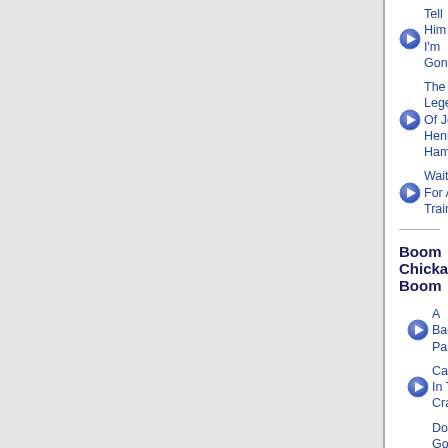Tell Him I'm Gone
The Legend Of John Henry's Hammer
Waiting For A Train
Boom Chicka Boom
A Backstage Pass
Cat's In The Cradle
Don't Go Near The Water
Family Bible
Farmer's Almanac
Harley
Hidden Shame
I Love You, Love You
Monteagle Mountain
That's One You Owe Me
Carryin' On
Fast Boat To Sidney